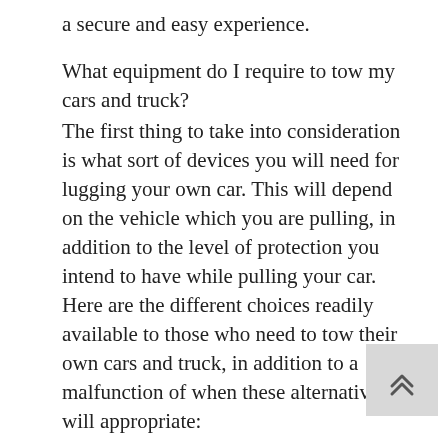a secure and easy experience.
What equipment do I require to tow my cars and truck?
The first thing to take into consideration is what sort of devices you will need for lugging your own car. This will depend on the vehicle which you are pulling, in addition to the level of protection you intend to have while pulling your car. Here are the different choices readily available to those who need to tow their own cars and truck, in addition to a malfunction of when these alternatives will appropriate:
1.) Tow dollies. Tow dollies are